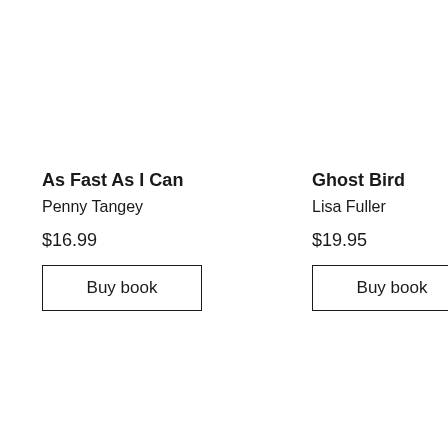As Fast As I Can
Penny Tangey
$16.99
Buy book
Ghost Bird
Lisa Fuller
$19.95
Buy book